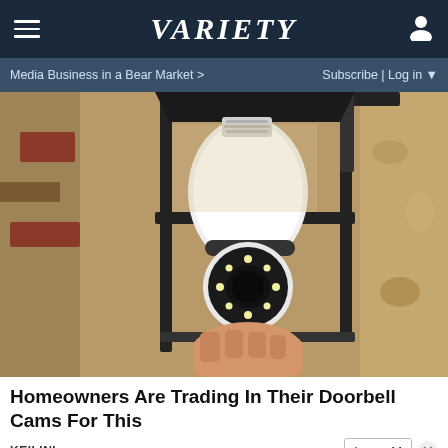VARIETY
Media Business in a Bear Market > | Subscribe | Log in
[Figure (photo): Close-up photo of a person installing a white light bulb security camera with a circular camera lens into an outdoor lantern-style wall fixture mounted on a textured stucco wall.]
Homeowners Are Trading In Their Doorbell Cams For This
KEILINI
[Figure (infographic): Bottom advertisement banner for SPY with text: MEN'S SKINCARE HACK HIDE ACNE FOR $24 with SPY logo on yellow background.]